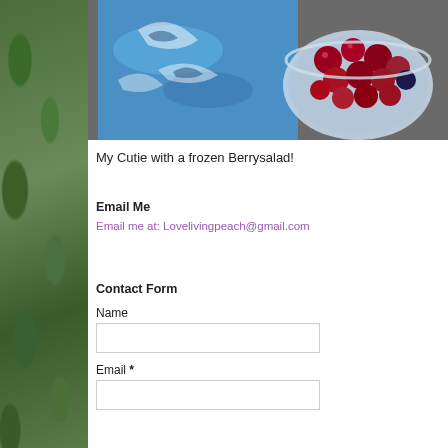[Figure (photo): Photo of a child (My Cutie) holding a blue shark-patterned bottle/bag next to a glass bowl filled with frozen berries (berry salad). The background is dark/outdoor.]
My Cutie with a frozen Berrysalad!
Email Me
Email me at: Lovelivingpeach@gmail.com
Contact Form
Name
Email *